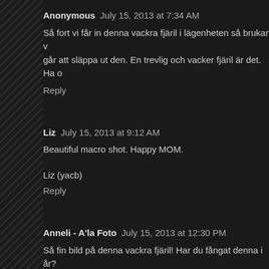Anonymous  July 15, 2013 at 7:34 AM
Så fort vi får in denna vackra fjäril i lägenheten så brukar v... går att släppa ut den. En trevlig och vacker fjäril är det. Ha o...
Reply
Liz  July 15, 2013 at 9:12 AM
Beautiful macro shot. Happy MOM.
Liz (yacb)
Reply
Anneli - A'la Foto  July 15, 2013 at 12:30 PM
Så fin bild på denna vackra fjäril! Har du fångat denna i år?
Reply
Hannah  July 15, 2013 at 1:12 PM